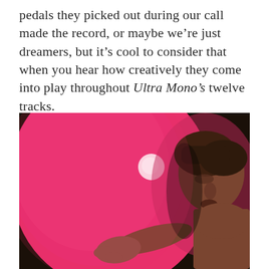pedals they picked out during our call made the record, or maybe we're just dreamers, but it's cool to consider that when you hear how creatively they come into play throughout Ultra Mono's twelve tracks.
[Figure (photo): A painted or photographic image of a person pushing against a large pink/magenta balloon. The person is partially visible on the right side, with dark hair and bare shoulders, pressing their face and outstretched hand against the balloon. The background is dark/black. The balloon dominates the left side of the image with a bright white highlight near the center.]